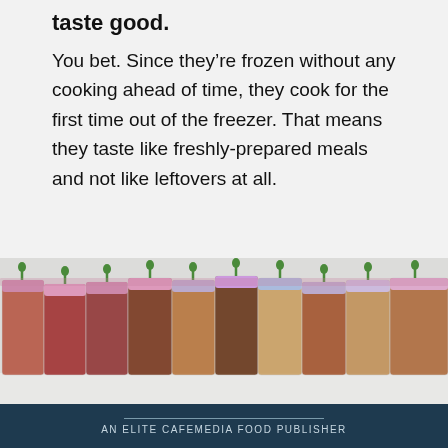taste good.
You bet. Since they’re frozen without any cooking ahead of time, they cook for the first time out of the freezer. That means they taste like freshly-prepared meals and not like leftovers at all.
[Figure (photo): A row of clear zip-lock freezer bags standing upright, filled with various marinated meats and foods in different colors including red, brown, and tan, clipped together with green clips along the top, on a white surface.]
AN ELITE CAFEMEDIA FOOD PUBLISHER